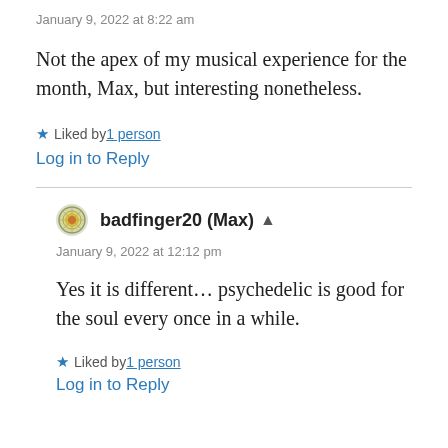January 9, 2022 at 8:22 am
Not the apex of my musical experience for the month, Max, but interesting nonetheless.
★ Liked by 1 person
Log in to Reply
badfinger20 (Max) ▲
January 9, 2022 at 12:12 pm
Yes it is different… psychedelic is good for the soul every once in a while.
★ Liked by 1 person
Log in to Reply